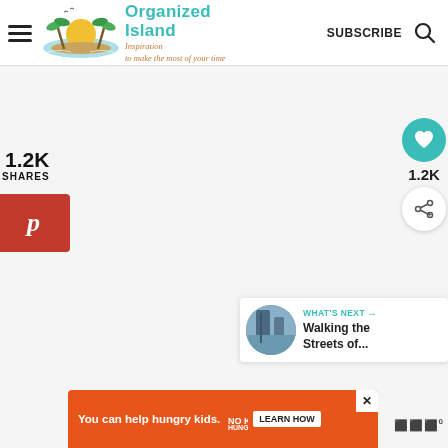Organized Island — Inspiration to make the most of your time
1.2K
SHARES
[Figure (logo): Pinterest share button (red background with P icon)]
[Figure (infographic): Heart (save) button in teal circle, share count 1.2K, share button in white circle]
1.2K
[Figure (photo): What's Next card with city street photo thumbnail, label WHAT'S NEXT, title Walking the Streets of...]
WHAT'S NEXT → Walking the Streets of...
[Figure (infographic): Orange advertisement bar: You can help hungry kids. No Kid Hungry logo. LEARN HOW button. Close X button.]